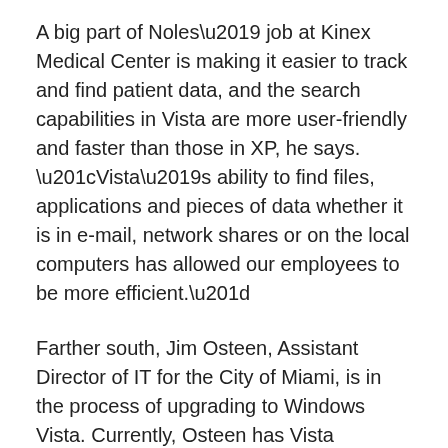A big part of Noles' job at Kinex Medical Center is making it easier to track and find patient data, and the search capabilities in Vista are more user-friendly and faster than those in XP, he says. “Vista’s ability to find files, applications and pieces of data whether it is in e-mail, network shares or on the local computers has allowed our employees to be more efficient.”
Farther south, Jim Osteen, Assistant Director of IT for the City of Miami, is in the process of upgrading to Windows Vista. Currently, Osteen has Vista installed on 100 workstations, with a goal of 900 workstation installations by September, 2009.
Osteen agrees that Vista’s search and security features exceed XP’s, adding that he believes